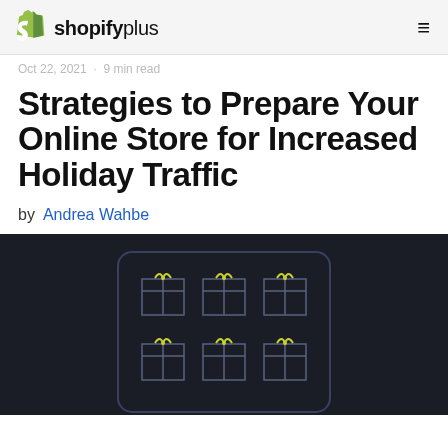shopifyplus
Oct 22, 2021 · 9 min read
Strategies to Prepare Your Online Store for Increased Holiday Traffic
by Andrea Wahbe
[Figure (illustration): Dark navy background illustration showing a grid of gift boxes with yellow/green bows arranged in rows, inside a rounded rectangle outline]